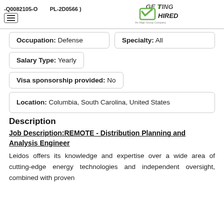-Q0082105-O ... PL-2D0566) | Getting Hired logo
| Occupation: Defense | Specialty: All |
| Salary Type: Yearly |  |
| Visa sponsorship provided: No |  |
| Location: Columbia, South Carolina, United States |  |
Description
Job Description:REMOTE - Distribution Planning and Analysis Engineer
Leidos offers its knowledge and expertise over a wide area of cutting-edge energy technologies and independent oversight, combined with proven